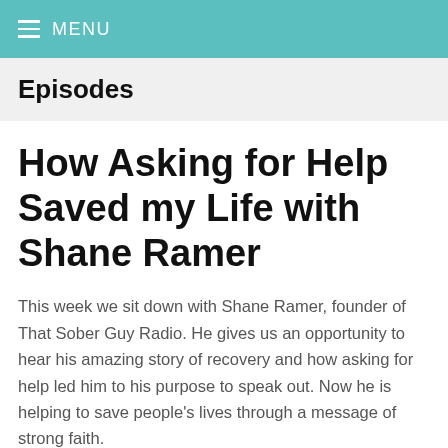MENU
Episodes
How Asking for Help Saved my Life with Shane Ramer
This week we sit down with Shane Ramer, founder of That Sober Guy Radio. He gives us an opportunity to hear his amazing story of recovery and how asking for help led him to his purpose to speak out. Now he is helping to save people’s lives through a message of strong faith.